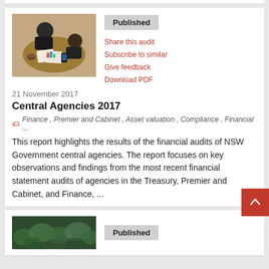[Figure (photo): Aerial view of two people looking at charts/documents on a table with coffee and notebooks]
Published
Share this audit
Subscribe to similar
Give feedback
Download PDF
21 November 2017
Central Agencies 2017
Finance , Premier and Cabinet , Asset valuation , Compliance , Financial ...
This report highlights the results of the financial audits of NSW Government central agencies. The report focuses on key observations and findings from the most recent financial statement audits of agencies in the Treasury, Premier and Cabinet, and Finance, ...
Published
[Figure (photo): Close-up photo of green foliage/leaves]